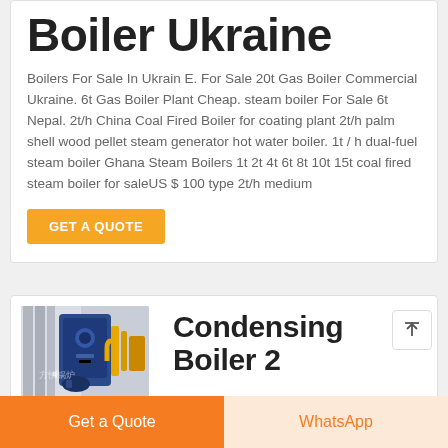Boiler Ukraine
Boilers For Sale In Ukrain E. For Sale 20t Gas Boiler Commercial Ukraine. 6t Gas Boiler Plant Cheap. steam boiler For Sale 6t Nepal. 2t/h China Coal Fired Boiler for coating plant 2t/h palm shell wood pellet steam generator hot water boiler. 1t / h dual-fuel steam boiler Ghana Steam Boilers 1t 2t 4t 6t 8t 10t 15t coal fired steam boiler for saleUS $ 100 type 2t/h medium
GET A QUOTE
[Figure (photo): Industrial boiler equipment photo showing blue and yellow machinery with Chinese text watermark (方快锅炉)]
Condensing Boiler 2
Get a Quote
WhatsApp